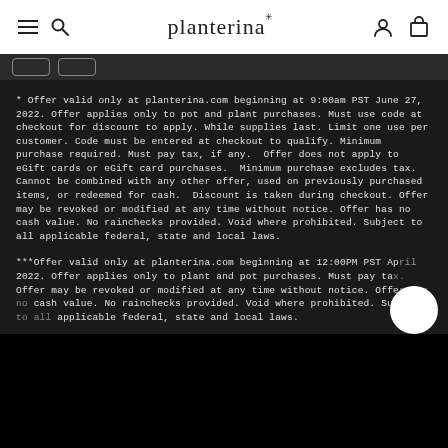planterina
* Offer valid only at planterina.com beginning at 9:00am PST June 27, 2022. Offer applies only to pot and plant purchases. Must use code at checkout for discount to apply. While supplies last. Limit one use per customer. Code must be entered at checkout to qualify. Minimum purchase required. Must pay tax, if any. Offer does not apply to eGift cards or eGift card purchases. Minimum purchase excludes tax. Cannot be combined with any other offer, used on previously purchased items, or redeemed for cash. Discount is taken during checkout. Offer may be revoked or modified at any time without notice. Offer has no cash value. No rainchecks provided. Void where prohibited. Subject to all applicable federal, state and local laws.
***Offer valid only at planterina.com beginning at 12:00PM PST April 2022. Offer applies only to plant and pot purchases. Must pay tax. Offer may be revoked or modified at any time without notice. Offer has no cash value. No rainchecks provided. Void where prohibited. Subject to all applicable federal, state and local laws.